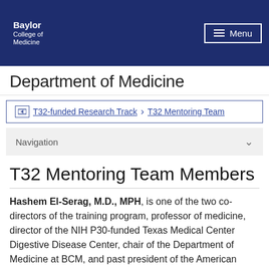Baylor College of Medicine | Menu
Department of Medicine
T32-funded Research Track > T32 Mentoring Team
Navigation
T32 Mentoring Team Members
Hashem El-Serag, M.D., MPH, is one of the two co-directors of the training program, professor of medicine, director of the NIH P30-funded Texas Medical Center Digestive Disease Center, chair of the Department of Medicine at BCM, and past president of the American